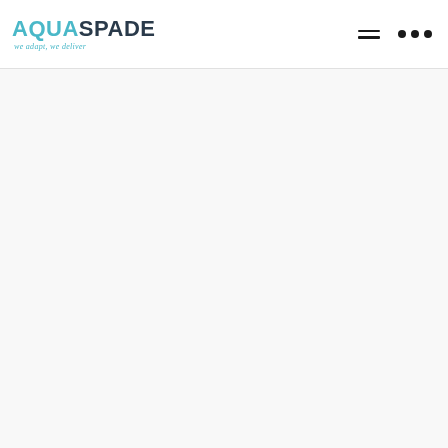[Figure (logo): AquaSpade logo with teal 'AQUA' and dark 'SPADE' text, tagline 'we adapt, we deliver' in teal italic]
[Figure (other): Hamburger menu icon (three horizontal lines) and three dots icon in the top right navigation area]